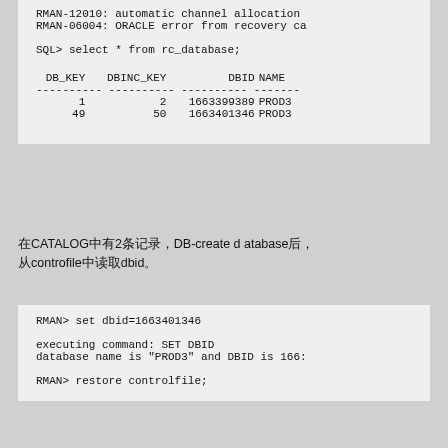RMAN-12010: automatic channel allocation
RMAN-06004: ORACLE error from recovery ca
SQL> select * from rc_database;
| DB_KEY | DBINC_KEY | DBID | NAME |
| --- | --- | --- | --- |
| 1 | 2 | 1663399389 | PROD3 |
| 49 | 50 | 1663401346 | PROD3 |
在CATALOG中有2条记录，DB-create d atabase后，
从controfile中读取dbid。
RMAN> set dbid=1663401346

executing command: SET DBID
database name is "PROD3" and DBID is 166:

RMAN> restore controlfile;